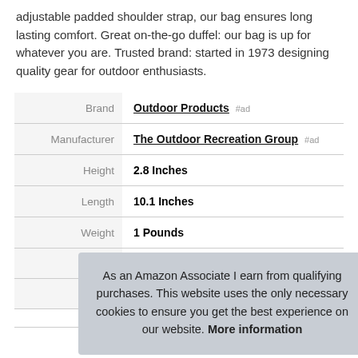adjustable padded shoulder strap, our bag ensures long lasting comfort. Great on-the-go duffel: our bag is up for whatever you are. Trusted brand: started in 1973 designing quality gear for outdoor enthusiasts.
|  |  |
| --- | --- |
| Brand | Outdoor Products #ad |
| Manufacturer | The Outdoor Recreation Group #ad |
| Height | 2.8 Inches |
| Length | 10.1 Inches |
| Weight | 1 Pounds |
| Width | 9.0 Inches |
| P... |  |
As an Amazon Associate I earn from qualifying purchases. This website uses the only necessary cookies to ensure you get the best experience on our website. More information
More information #ad